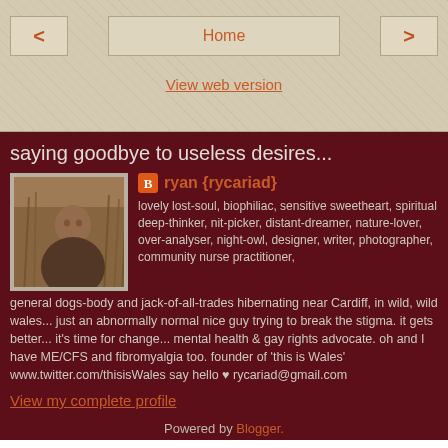< Home >
View web version
saying goodbye to useless desires...
ryan {rycariad}
[Figure (photo): Profile photo of a man outdoors near tall grass/reeds, warm sepia tones]
lovely lost-soul, biophiliac, sensitive sweetheart, spiritual deep-thinker, nit-picker, distant-dreamer, nature-lover, over-analyser, night-owl, designer, writer, photographer, community nurse practitioner, general dogs-body and jack-of-all-trades hibernating near Cardiff, in wild, wild wales... just an abnormally normal nice guy trying to break the stigma. it gets better... it's time for change... mental health & gay rights advocate. oh and I have ME/CFS and fibromyalgia too. founder of 'this is Wales' www.twitter.com/thisisWales say hello ♥ rycariad@gmail.com
View my complete profile
Powered by Blogger.